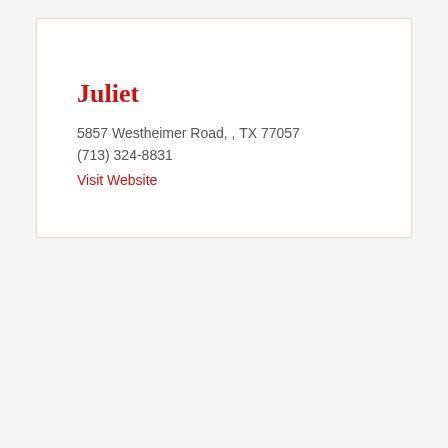Juliet
5857 Westheimer Road, , TX 77057
(713) 324-8831
Visit Website